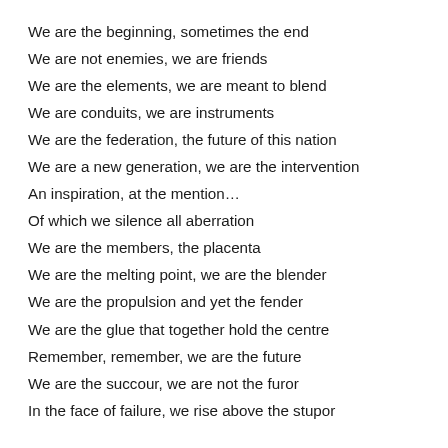We are the beginning, sometimes the end
We are not enemies, we are friends
We are the elements, we are meant to blend
We are conduits, we are instruments
We are the federation, the future of this nation
We are a new generation, we are the intervention
An inspiration, at the mention…
Of which we silence all aberration
We are the members, the placenta
We are the melting point, we are the blender
We are the propulsion and yet the fender
We are the glue that together hold the centre
Remember, remember, we are the future
We are the succour, we are not the furor
In the face of failure, we rise above the stupor